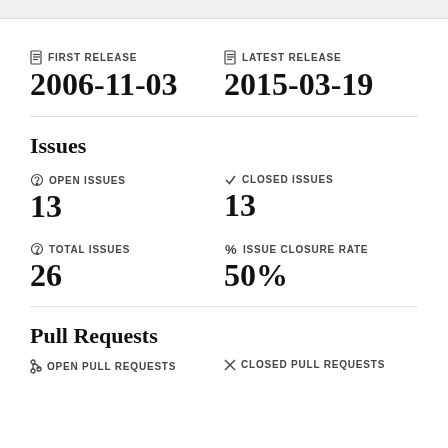FIRST RELEASE
2006-11-03
LATEST RELEASE
2015-03-19
Issues
OPEN ISSUES
13
CLOSED ISSUES
13
TOTAL ISSUES
26
ISSUE CLOSURE RATE
50%
Pull Requests
OPEN PULL REQUESTS
CLOSED PULL REQUESTS